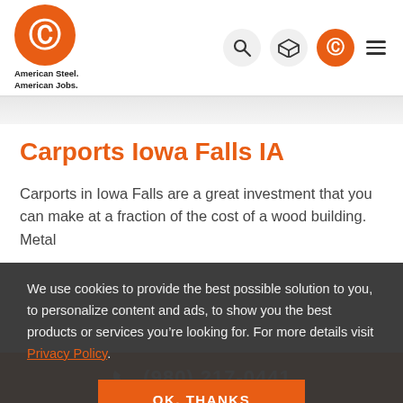[Figure (logo): Central Steel Buildings logo — orange circle with white C letter, with tagline 'American Steel. American Jobs.']
Carports Iowa Falls IA
Carports in Iowa Falls are a great investment that you can make at a fraction of the cost of a wood building. Metal
We use cookies to provide the best possible solution to you, to personalize content and ads, to show you the best products or services you’re looking for. For more details visit Privacy Policy.
OK, THANKS
☎ (980) 217-0441